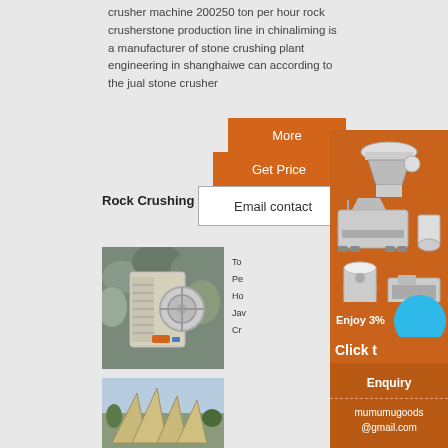crusher machine 200250 ton per hour rock crusherstone production line in chinaliming is a manufacturer of stone crushing plant engineering in shanghaiwe can according to the jual stone crusher
[Figure (illustration): Orange 'More' button]
[Figure (illustration): Orange 'Get Price' button]
[Figure (illustration): White 'Email contact' button with border]
Rock Crushing
[Figure (photo): Jaw crusher machine with rocks in background]
[Figure (photo): Construction equipment photo at bottom]
[Figure (illustration): Side panel with orange background showing multiple crushing machines, 'Enjoy 3%' bar, blue circle, 'Click t...' text, Enquiry section with mumumugoods@gmail.com]
To
Pe
Ho
Jav
Cr
Enquiry
mumumugoods
@gmail.com